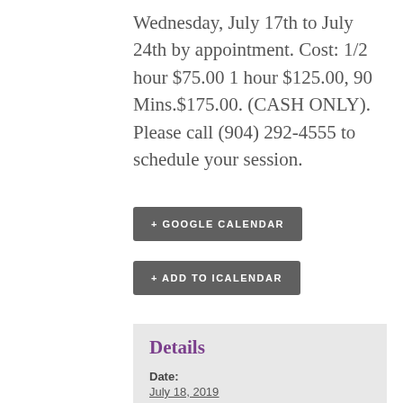Wednesday, July 17th to July 24th by appointment. Cost: 1/2 hour $75.00 1 hour $125.00, 90 Mins.$175.00. (CASH ONLY). Please call (904) 292-4555 to schedule your session.
+ GOOGLE CALENDAR
+ ADD TO ICALENDAR
Details
Date: July 18, 2019
Time: 10:30 am - 7:00 pm
Venue